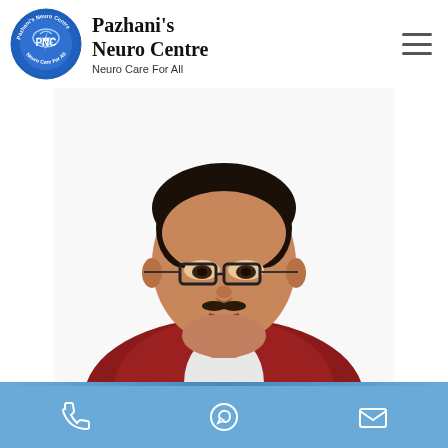Pazhani's Neuro Centre — Neuro Care For All
[Figure (photo): Portrait photo of a male doctor wearing glasses and a dark red blazer with white shirt, facing slightly left, against a white background. PNC logo circle on the left of the header.]
[Figure (infographic): Blue bottom navigation bar with three icons: phone, WhatsApp, and email/envelope]